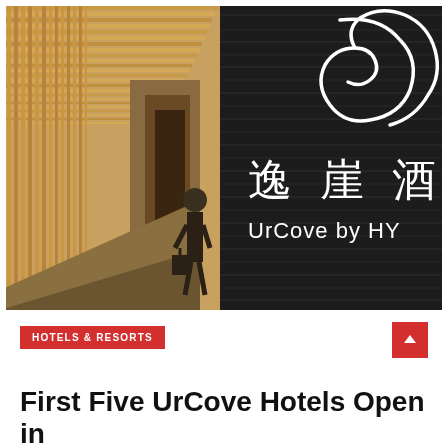[Figure (photo): Hotel interior with bamboo wood slat corridor on left showing a person walking with luggage, and on the right a dark stone wall with a silver swirl logo and Chinese characters '逸崖酒' and text 'UrCove by HY']
HOTELS & RESORTS
First Five UrCove Hotels Open in